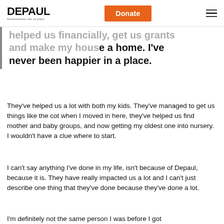DEPAUL | Donate
helped us financially, get us grants and make my house a home. I've never been happier in a place.
They've helped us a lot with both my kids. They've managed to get us things like the cot when I moved in here, they've helped us find mother and baby groups, and now getting my oldest one into nursery. I wouldn't have a clue where to start.
I can't say anything I've done in my life, isn't because of Depaul, because it is. They have really impacted us a lot and I can't just describe one thing that they've done because they've done a lot.
I'm definitely not the same person I was before I got